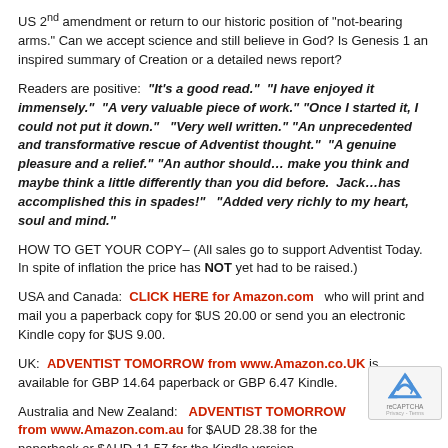US 2nd amendment or return to our historic position of "not-bearing arms." Can we accept science and still believe in God? Is Genesis 1 an inspired summary of Creation or a detailed news report?
Readers are positive: "It's a good read." "I have enjoyed it immensely." "A very valuable piece of work." "Once I started it, I could not put it down." "Very well written." "An unprecedented and transformative rescue of Adventist thought." "A genuine pleasure and a relief." "An author should… make you think and maybe think a little differently than you did before. Jack…has accomplished this in spades!" "Added very richly to my heart, soul and mind."
HOW TO GET YOUR COPY– (All sales go to support Adventist Today. In spite of inflation the price has NOT yet had to be raised.)
USA and Canada: CLICK HERE for Amazon.com who will print and mail you a paperback copy for $US 20.00 or send you an electronic Kindle copy for $US 9.00.
UK: ADVENTIST TOMORROW from www.Amazon.co.UK is available for GBP 14.64 paperback or GBP 6.47 Kindle.
Australia and New Zealand: ADVENTIST TOMORROW from www.Amazon.com.au for $AUD 28.38 for the paperback or $AUD 11.57 for the Kindle version.